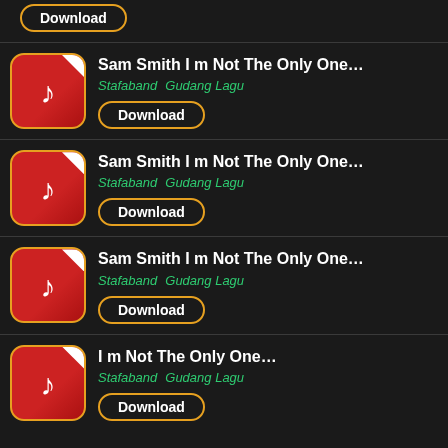Download
Sam Smith I m Not The Only One... | Stafaband  Gudang Lagu | Download
Sam Smith I m Not The Only One... | Stafaband  Gudang Lagu | Download
Sam Smith I m Not The Only One... | Stafaband  Gudang Lagu | Download
I m Not The Only One... | Stafaband  Gudang Lagu | Download